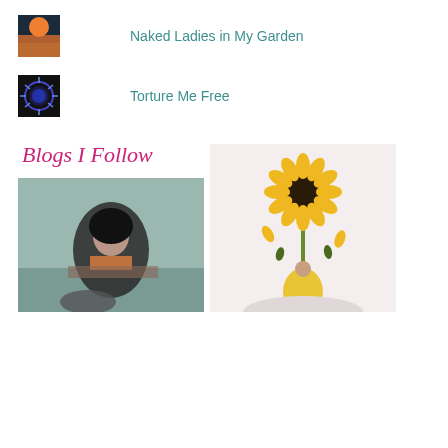Naked Ladies in My Garden
Torture Me Free
Blogs I Follow
[Figure (photo): Woman with dark hair leaning on a ledge outdoors]
[Figure (photo): Person in yellow dress holding a sunflower, petals falling]